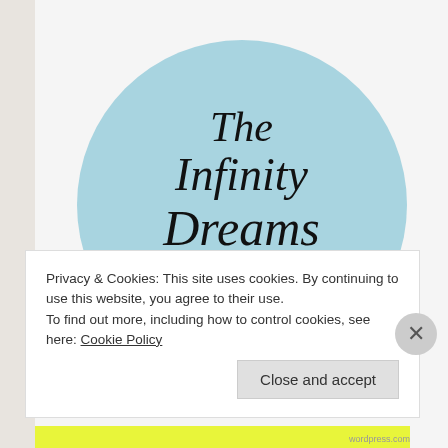[Figure (logo): Circular badge with light blue background containing stylized cursive/script text reading 'The Infinity Dreams Award' in black on a light blue circle, set against a gray/beige background.]
Privacy & Cookies: This site uses cookies. By continuing to use this website, you agree to their use.
To find out more, including how to control cookies, see here: Cookie Policy